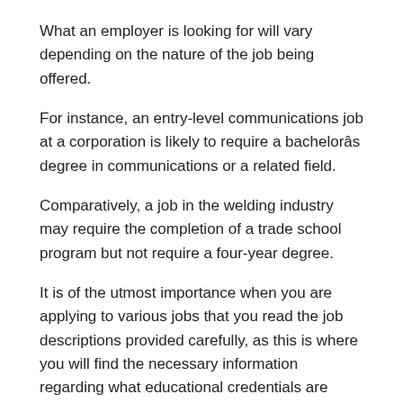What an employer is looking for will vary depending on the nature of the job being offered.
For instance, an entry-level communications job at a corporation is likely to require a bachelorâs degree in communications or a related field.
Comparatively, a job in the welding industry may require the completion of a trade school program but not require a four-year degree.
It is of the utmost importance when you are applying to various jobs that you read the job descriptions provided carefully, as this is where you will find the necessary information regarding what educational credentials are required of eligible candidates.